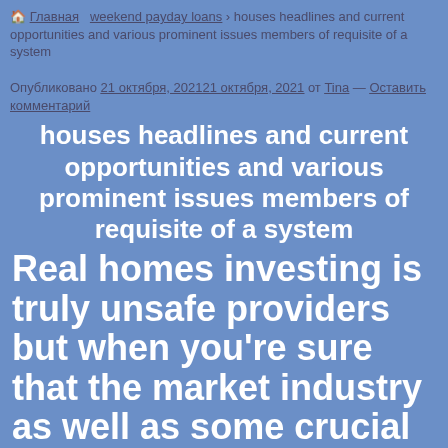🏠 Главная  weekend payday loans  houses headlines and current opportunities and various prominent issues members of requisite of a system
Опубликовано 21 октября, 202121 октября, 2021 от Tina — Оставить комментарий
houses headlines and current opportunities and various prominent issues members of requisite of a system
Real homes investing is truly unsafe providers but when you're sure that the market industry as well as some crucial